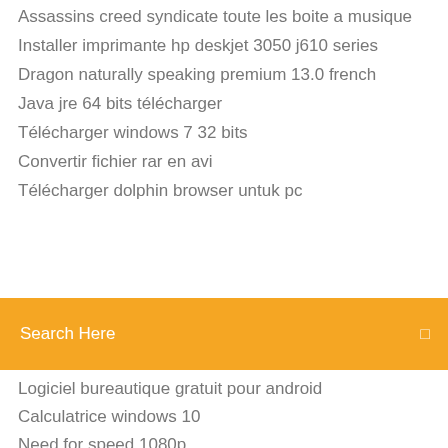Assassins creed syndicate toute les boite a musique
Installer imprimante hp deskjet 3050 j610 series
Dragon naturally speaking premium 13.0 french
Java jre 64 bits télécharger
Télécharger windows 7 32 bits
Convertir fichier rar en avi
Télécharger dolphin browser untuk pc
[Figure (screenshot): Orange search bar with text 'Search Here' and a small icon on the right]
Logiciel bureautique gratuit pour android
Calculatrice windows 10
Need for speed 1080p
Comment mettre a jour les drivers carte graphique
Media feature pack windows 8.1
Traktor pro 2 mac télécharger free
Call of duty black ops 2 pc season pass
Shoot hunter gun killer hack
Clé dactivation pour windows 7 numero 7601
Grand theft auto the ballad of gay tony system